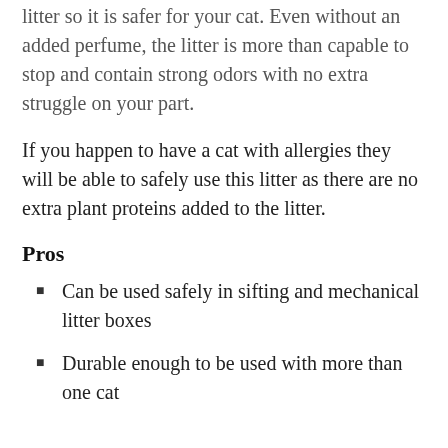No perfumes or deodorants are added to the litter so it is safer for your cat. Even without an added perfume, the litter is more than capable to stop and contain strong odors with no extra struggle on your part.
If you happen to have a cat with allergies they will be able to safely use this litter as there are no extra plant proteins added to the litter.
Pros
Can be used safely in sifting and mechanical litter boxes
Durable enough to be used with more than one cat